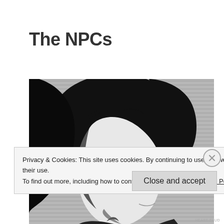The NPCs
[Figure (illustration): Black and white manga-style illustration of a male character with dark hair, viewed from a side/downward angle with a brooding expression, against a horizontally lined background.]
Privacy & Cookies: This site uses cookies. By continuing to use this website, you agree to their use.
To find out more, including how to control cookies, see here: Cookie Policy
Close and accept